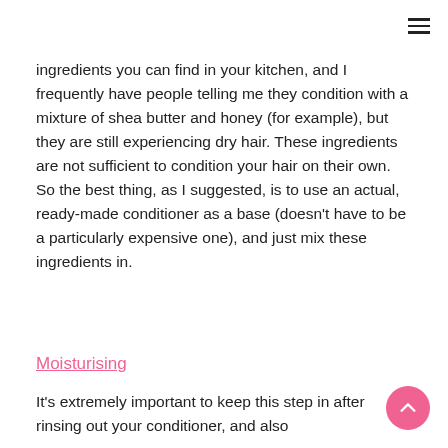ingredients you can find in your kitchen, and I frequently have people telling me they condition with a mixture of shea butter and honey (for example), but they are still experiencing dry hair. These ingredients are not sufficient to condition your hair on their own. So the best thing, as I suggested, is to use an actual, ready-made conditioner as a base (doesn't have to be a particularly expensive one), and just mix these ingredients in.
Moisturising
It's extremely important to keep this step in after rinsing out your conditioner, and also